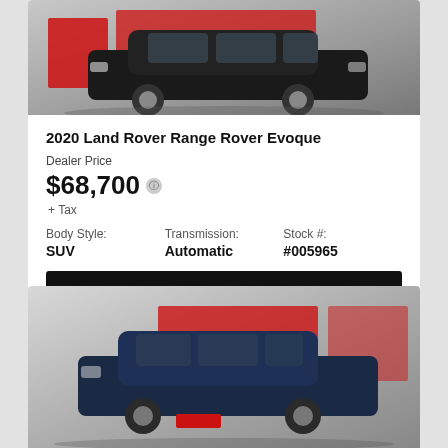[Figure (photo): Black 2020 Land Rover Range Rover Evoque SUV in front of a dealer logo background]
2020 Land Rover Range Rover Evoque
Dealer Price
$68,700 + Tax
Body Style: SUV  Transmission: Automatic  Stock #: #005965
View More Details
[Figure (photo): Dark blue Land Rover Discovery SUV in front of a dealer logo background]